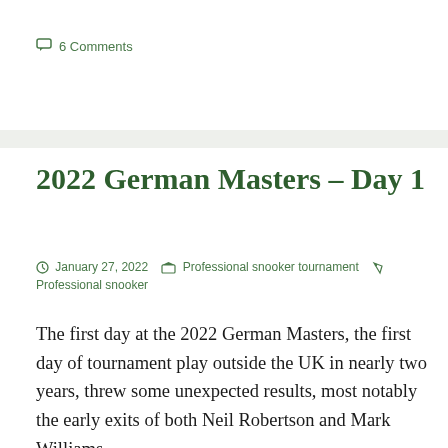6 Comments
2022 German Masters – Day 1
January 27, 2022   Professional snooker tournament   Professional snooker
The first day at the 2022 German Masters, the first day of tournament play outside the UK in nearly two years, threw some unexpected results, most notably the early exits of both Neil Robertson and Mark Williams.